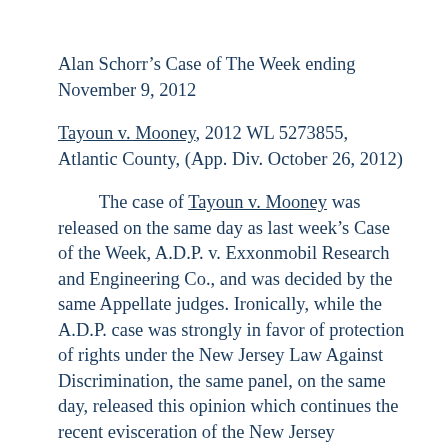Alan Schorr’s Case of The Week ending November 9, 2012
Tayoun v. Mooney, 2012 WL 5273855, Atlantic County, (App. Div. October 26, 2012)
The case of Tayoun v. Mooney was released on the same day as last week’s Case of the Week, A.D.P. v. Exxonmobil Research and Engineering Co., and was decided by the same Appellate judges. Ironically, while the A.D.P. case was strongly in favor of protection of rights under the New Jersey Law Against Discrimination, the same panel, on the same day, released this opinion which continues the recent evisceration of the New Jersey Conscientious